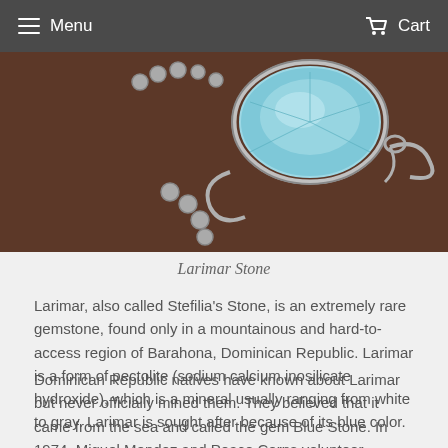Menu   Cart
[Figure (photo): Close-up photo of a silver jewelry piece with blue Larimar stone on dark brown leather background]
Larimar Stone
Larimar, also called Stefilia’s Stone, is an extremely rare gemstone, found only in a mountainous and hard-to-access region of Barahona, Dominican Republic. Larimar is a form of pectolite (sodium calcium inosilicate hydroxide), which is a mineral usually ranging from white to gray. Larimar is sought after because of its blue color.
Dominican Republic natives have known about Larimar but never officially mined them. They believed that it came from the sea and called the gem Blue Stone. In 1974, Miguel Mendez and Peace Corps volunteer Norman Rilling rediscovered Larimar and started officially mining them. Miguel named the stone after the first part of